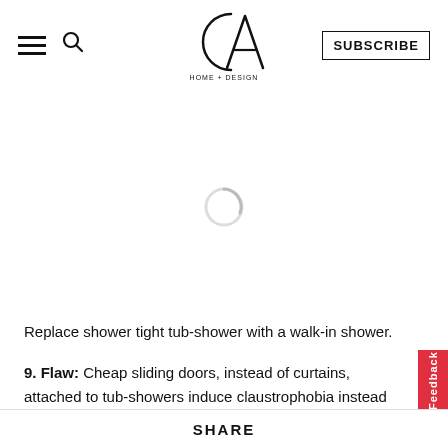CA Home + Design — SUBSCRIBE
Replace shower tight tub-shower with a walk-in shower.
9. Flaw: Cheap sliding doors, instead of curtains, attached to tub-showers induce claustrophobia instead of cleanliness, not to mention bruised elbow…
SHARE